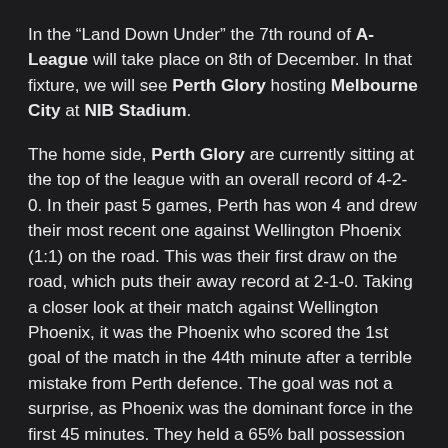In the “Land Down Under” the 7th round of A-League will take place on 8th of December. In that fixture, we will see Perth Glory hosting Melbourne City at NIB Stadium.
The home side, Perth Glory are currently sitting at the top of the league with an overall record of 4-2-0. In their past 5 games, Perth has won 4 and drew their most recent one against Wellington Phoenix (1:1) on the road. This was their first draw on the road, which puts their away record at 2-1-0. Taking a closer look at their match against Wellington Phoenix, it was the Phoenix who scored the 1st goal of the match in the 44th minute after a terrible mistake from Perth defence. The goal was not a surprise, as Phoenix was the dominant force in the first 45 minutes. They held a 65% ball possession and had 8 goal attempts (3 on goal), whereas Perth only had a 35% ball possession and 1 goal attempt without any shots on goal. The 2nd half saw Perth being the dominant team, with 67% ball